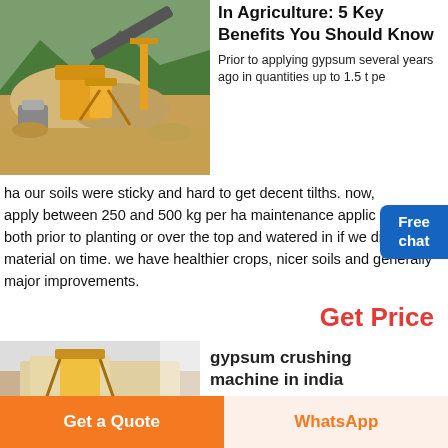[Figure (photo): Outdoor mining/crushing machinery with yellow equipment and rocky terrain, mountains in background]
In Agriculture: 5 Key Benefits You Should Know
Prior to applying gypsum several years ago in quantities up to 1.5 t pe ha our soils were sticky and hard to get decent tilths. now, apply between 250 and 500 kg per ha maintenance applic per crop , both prior to planting or over the top and watered in if we didn’t have material on time. we have healthier crops, nicer soils and generally major improvements.
Get Price
[Figure (photo): Partial view of gypsum crushing machine in India]
gypsum crushing machine in india
Get a Quote
WhatsApp